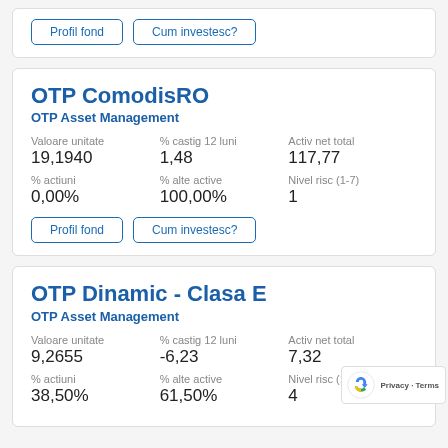Profil fond | Cum investesc?
OTP ComodisRO
OTP Asset Management
| Valoare unitate | % castig 12 luni | Activ net total |
| --- | --- | --- |
| 19,1940 | 1,48 | 117,77 |
| % actiuni | % alte active | Nivel risc (1-7) |
| 0,00% | 100,00% | 1 |
Profil fond | Cum investesc?
OTP Dinamic - Clasa E
OTP Asset Management
| Valoare unitate | % castig 12 luni | Activ net total |
| --- | --- | --- |
| 9,2655 | -6,23 | 7,32 |
| % actiuni | % alte active | Nivel risc (1-7) |
| 38,50% | 61,50% | 4 |